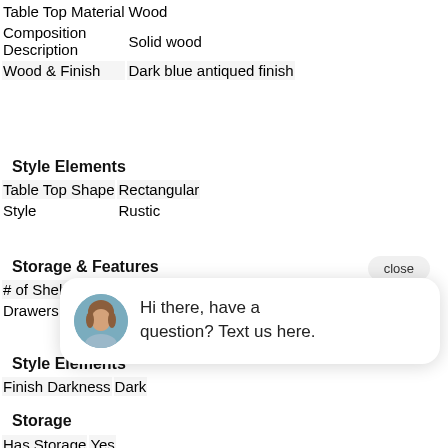| Table Top Material | Wood |
| Composition Description | Solid wood |
| Wood & Finish | Dark blue antiqued finish |
Style Elements
| Table Top Shape | Rectangular |
| Style | Rustic |
Storage & Features
| # of Shelves |  |
| Drawers |  |
Style Elements
| Finish Darkness | Dark |
Storage
| Has Storage | Yes |
[Figure (screenshot): Chat popup with avatar and message: Hi there, have a question? Text us here. With a close button and green chat FAB button.]